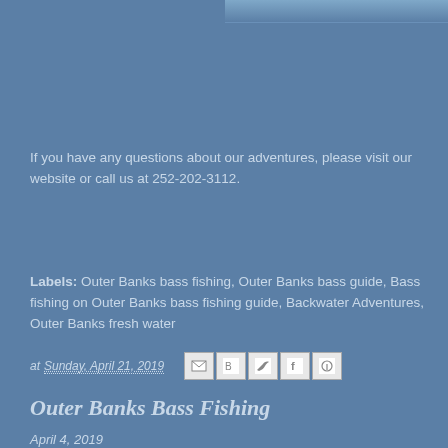[Figure (photo): Partial image strip at top right of page, showing water/fishing scene cropped]
If you have any questions about our adventures, please visit our website or call us at 252-202-3112.
Labels: Outer Banks bass fishing, Outer Banks bass guide, Bass fishing on Outer Banks bass fishing guide, Backwater Adventures, Outer Banks fresh water
at Sunday, April 21, 2019
Outer Banks Bass Fishing
April 4, 2019